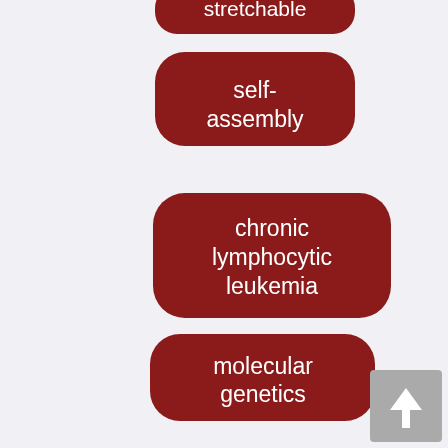stretchable
self-assembly
chronic lymphocytic leukemia
molecular genetics
self-healing hydrogel
vascularization
glucose sensitivity
angiogenesis
[Figure (other): Scroll-to-top button with upward arrow icon]